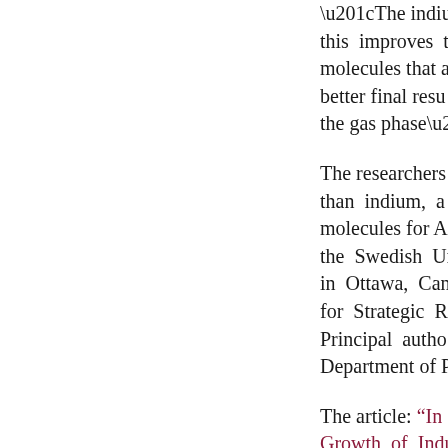“The indium tri... this improves t... molecules that a... better final resu... the gas phase”, ...
The researchers... than indium, a... molecules for A... the Swedish Uni... in Ottawa, Cana... for Strategic R... Principal autho... Department of P...
The article: “In... Growth of Indu...